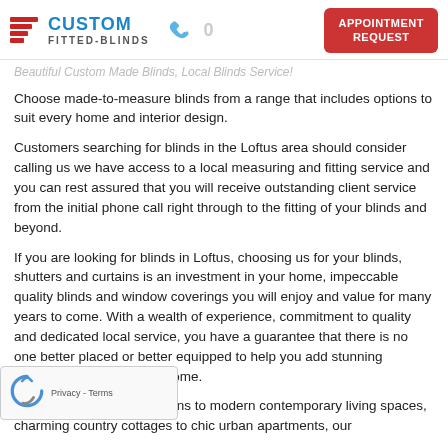CUSTOM FITTED-BLINDS | APPOINTMENT REQUEST
Beautiful Custom Made Blinds, Local Blinds Service!
Choose made-to-measure blinds from a range that includes options to suit every home and interior design.
Customers searching for blinds in the Loftus area should consider calling us we have access to a local measuring and fitting service and you can rest assured that you will receive outstanding client service from the initial phone call right through to the fitting of your blinds and beyond.
If you are looking for blinds in Loftus, choosing us for your blinds, shutters and curtains is an investment in your home, impeccable quality blinds and window coverings you will enjoy and value for many years to come. With a wealth of experience, commitment to quality and dedicated local service, you have a guarantee that there is no one better placed or better equipped to help you add stunning finishing touches to your home.
From classic traditional designs to modern contemporary living spaces, charming country cottages to chic urban apartments, our